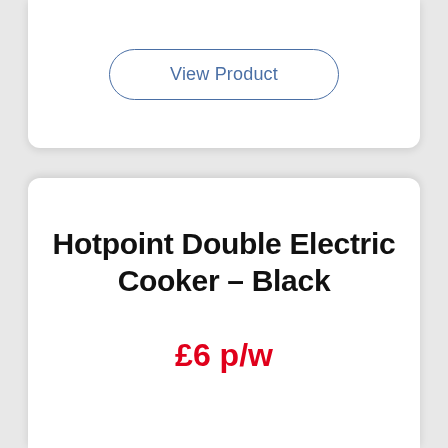[Figure (screenshot): View Product button with rounded pill border in blue on white card background]
Hotpoint Double Electric Cooker – Black
£6 p/w